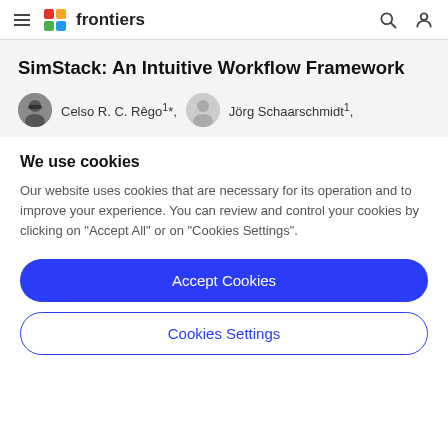frontiers
SimStack: An Intuitive Workflow Framework
Celso R. C. Rêgo¹*, Jörg Schaarschmidt¹,
We use cookies
Our website uses cookies that are necessary for its operation and to improve your experience. You can review and control your cookies by clicking on "Accept All" or on "Cookies Settings".
Accept Cookies
Cookies Settings